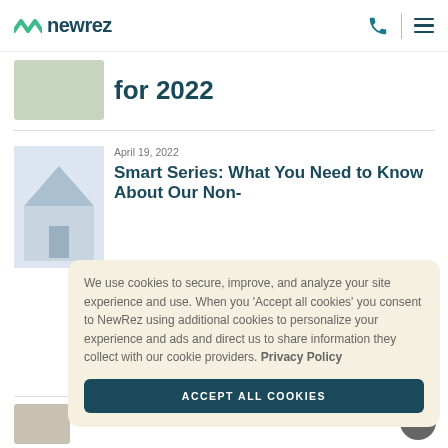newrez — navigation header with phone and menu icons
for 2022
April 19, 2022
Smart Series: What You Need to Know About Our Non-
We use cookies to secure, improve, and analyze your site experience and use. When you 'Accept all cookies' you consent to NewRez using additional cookies to personalize your experience and ads and direct us to share information they collect with our cookie providers. Privacy Policy
ACCEPT ALL COOKIES